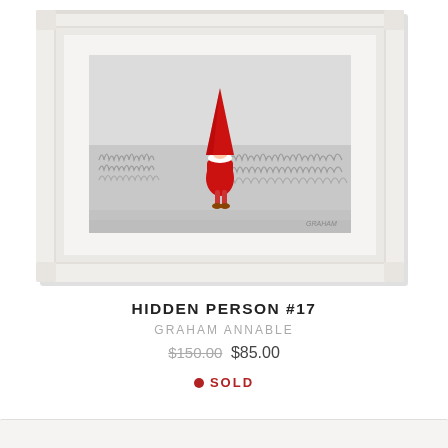[Figure (photo): A framed artwork in a white picture frame. The artwork shows a whimsical illustrated character wearing a tall red pointy hat and red coat standing in a gray sketchy field/grass landscape. The character resembles a gnome or hidden person. The frame is white/cream colored with a mat border.]
HIDDEN PERSON #17
GRAHAM ANNABLE
$150.00 $85.00
● SOLD